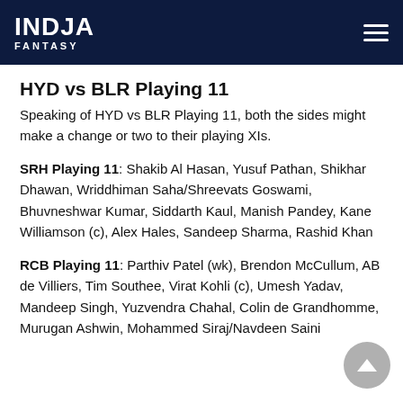INDIA FANTASY
HYD vs BLR Playing 11
Speaking of HYD vs BLR Playing 11, both the sides might make a change or two to their playing XIs.
SRH Playing 11: Shakib Al Hasan, Yusuf Pathan, Shikhar Dhawan, Wriddhiman Saha/Shreevats Goswami, Bhuvneshwar Kumar, Siddarth Kaul, Manish Pandey, Kane Williamson (c), Alex Hales, Sandeep Sharma, Rashid Khan
RCB Playing 11: Parthiv Patel (wk), Brendon McCullum, AB de Villiers, Tim Southee, Virat Kohli (c), Umesh Yadav, Mandeep Singh, Yuzvendra Chahal, Colin de Grandhomme, Murugan Ashwin, Mohammed Siraj/Navdeen Saini